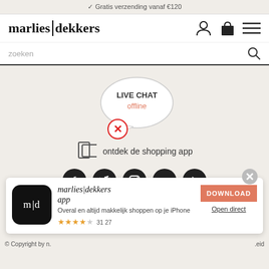✓ Gratis verzending vanaf €120
[Figure (logo): marlies|dekkers logo with user icon, bag icon, and hamburger menu]
zoeken
[Figure (illustration): Live chat bubble showing LIVE CHAT offline with a red X circle icon]
ontdek de shopping app
[Figure (illustration): Social media icons: Facebook, Twitter, Instagram, Pinterest, Play]
[Figure (illustration): App popup with marlies|dekkers app icon (m|d), title 'marlies|dekkers app', description 'Overal en altijd makkelijk shoppen op je iPhone', 4.5 star rating 3127 reviews, DOWNLOAD button and Open direct link]
© Copyright by n.  .eid